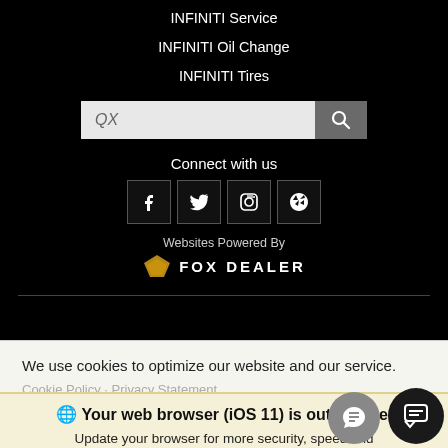INFINITI Service
INFINITI Oil Change
INFINITI Tires
[Figure (screenshot): Search bar with text 'QX' and a search button]
Connect with us
[Figure (illustration): Social media icons: Facebook, Twitter, Instagram, Yelp]
Websites Powered By FOX DEALER
We use cookies to optimize our website and our service.
Cookie Policy · Privacy Statement
Your web browser (iOS 11) is out of date. Update your browser for more security, speed and the best experience on this
Update browser   Ignore